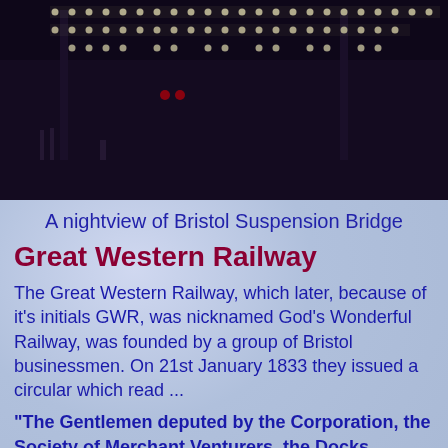[Figure (photo): Nighttime aerial photograph of Bristol Suspension Bridge illuminated with lights against a dark sky]
A nightview of Bristol Suspension Bridge
Great Western Railway
The Great Western Railway, which later, because of it's initials GWR, was nicknamed God's Wonderful Railway, was founded by a group of Bristol businessmen. On 21st January 1833 they issued a circular which read ...
"The Gentlemen deputed by the Corporation, the Society of Merchant Venturers, the Docks Company, and the Bristol and Gloucestershire Rail Road Company, to take into consideration the expediency of